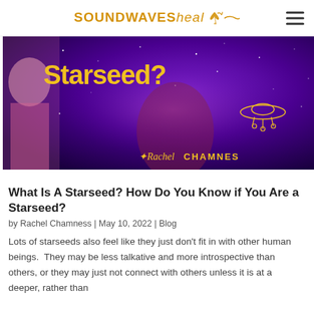SOUNDWAVESheal
[Figure (photo): Banner image showing a woman in pink on the left, a purple starry background with 'Starseed?' in large yellow text, a figure looking upward, a UFO illustration on the right, and the signature 'Rachel CHAMNES' at the bottom right.]
What Is A Starseed? How Do You Know if You Are a Starseed?
by Rachel Chamness | May 10, 2022 | Blog
Lots of starseeds also feel like they just don’t fit in with other human beings.  They may be less talkative and more introspective than others, or they may just not connect with others unless it is at a deeper, rather than superficial level. Often they might be misinterpreted...